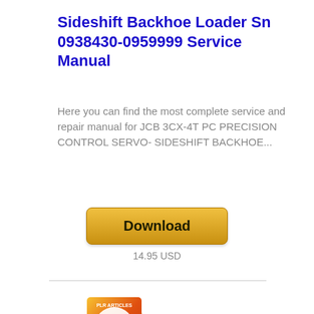Sideshift Backhoe Loader Sn 0938430-0959999 Service Manual
Here you can find the most complete service and repair manual for JCB 3CX-4T PC PRECISION CONTROL SERVO- SIDESHIFT BACKHOE...
[Figure (other): Download button with golden/amber gradient background, labeled 'Download']
14.95 USD
[Figure (illustration): Stack of PLR articles books/booklets with orange-red gradient cover and white circular inset showing a tablet device. Text on cover reads 'PLR ARTICLES' and 'High Quality Content Professionally Written'.]
Pocket Pc (handheld) - 25 Plr Articles Pack!